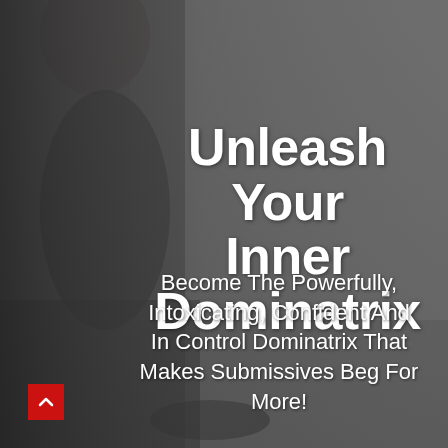[Figure (photo): Dark photographic background showing a woman in black lingerie and corset on the left side, with a whip visible at the bottom. The background is dark grey/charcoal.]
Unleash Your Inner Dominatrix
Become The Powerfully, Intoxicating, Confident And In Control Dominatrix That Makes Submissives Beg For More!